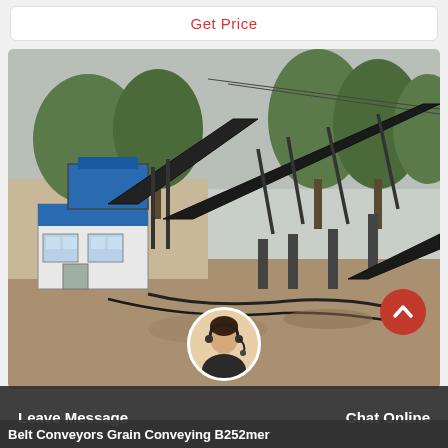Get Price
[Figure (photo): Industrial belt conveyor system at an outdoor site with a blue control booth, multiple conveyor belts on steel frames, trees and a wall in the background, muddy ground.]
Belt Conveyors Grain Conveying B252mer